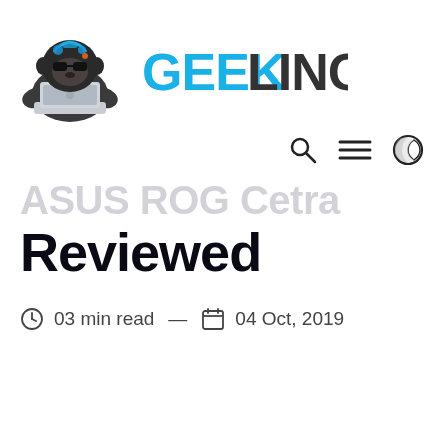[Figure (logo): GeekLingo website header with gorilla mascot logo on left and GEEKLINGO text logo on right in blue and dark gray]
[Figure (infographic): Navigation icons: search magnifier, hamburger menu, and dark/light mode toggle (crescent moon icon)]
ASUS ROG Cetra Reviewed
03 min read  —  04 Oct, 2019